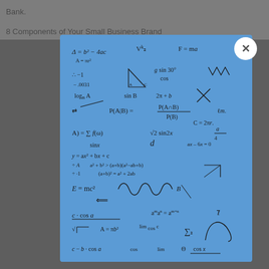Bank.
8 Components of Your Small Business Brand
[Figure (other): Handwritten mathematics formulas and equations on a blue background shown in a modal popup, including: Delta = b^2 - 4ac, V, A = pi*r^2, F = ma, trigonometry formulas, g sin 30 degrees, cos, sin B, P(A|B) = P(A∩B)/P(B), C = 2*pi*r, A = sum f(omega), sqrt(2)*sin(2x), sinx, y = ax^2 + bx + c, a^2 + b^2 > (a+b)(a^2-ab+b), (a+b)^2 = a^2 + 2ab, E = mc^2, waveform drawing, c·cos(a), A = pi*b^2, a^m * a^n = a^(m+n), lim, cos, sin, Sigma, cos x, c - b·cos(a)]